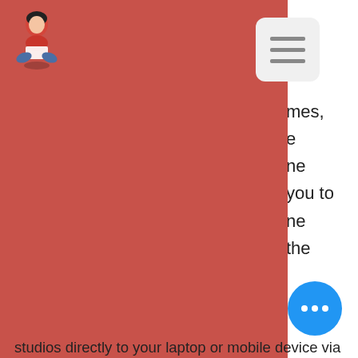[Figure (screenshot): Website screenshot showing a red navigation panel overlay with a logo (seated woman illustration) in the top left and a hamburger menu button (three horizontal lines) in the top right area. The red panel covers most of the upper left portion of the page. Partially visible text on the right side reads fragments: 'ans', 'mes,', 'e', 'ne', 'you to', 'ne', 'the'. Below the red panel, body text reads: 'studios directly to your laptop or mobile device via the NetEnt online casino, free coin cashman casino.' A section header reads 'Belmont park casino games'. Body text below reads: 'Cashman casino free coin links - best chance in our casino. Any currency - payment without commission. Joker poker - top scores! Follow us to get cashman slots free coins and share working tokens facebook, twitter and instagram. Obtain list'. A blue circular chat button with three dots is in the bottom right corner.]